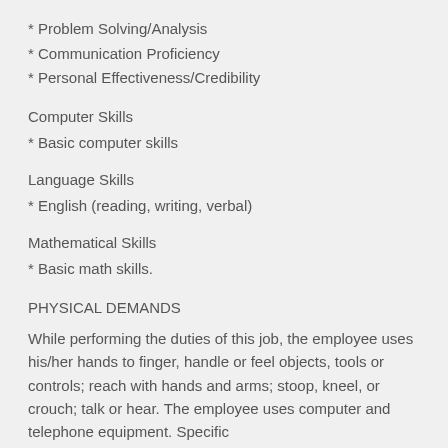* Problem Solving/Analysis
* Communication Proficiency
* Personal Effectiveness/Credibility
Computer Skills
* Basic computer skills
Language Skills
* English (reading, writing, verbal)
Mathematical Skills
* Basic math skills.
PHYSICAL DEMANDS
While performing the duties of this job, the employee uses his/her hands to finger, handle or feel objects, tools or controls; reach with hands and arms; stoop, kneel, or crouch; talk or hear. The employee uses computer and telephone equipment. Specific